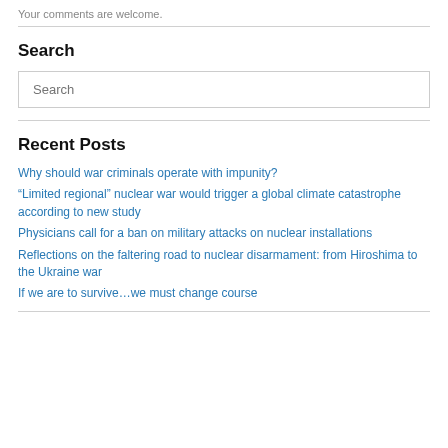Your comments are welcome.
Search
Search
Recent Posts
Why should war criminals operate with impunity?
“Limited regional” nuclear war would trigger a global climate catastrophe according to new study
Physicians call for a ban on military attacks on nuclear installations
Reflections on the faltering road to nuclear disarmament: from Hiroshima to the Ukraine war
If we are to survive…we must change course